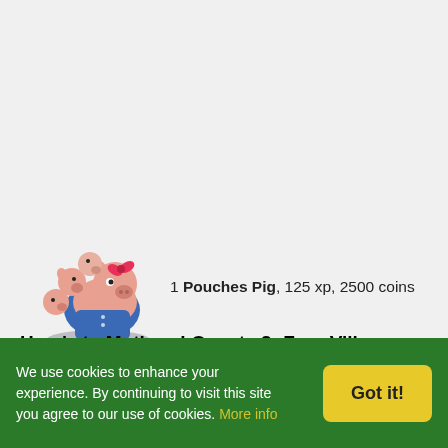[Figure (illustration): Cartoon illustration of a mother pig wearing a blue jacket holding smaller piglets on her back, standing on a grey platform. FarmVille game art style.]
1 Pouches Pig, 125 xp, 2500 coins
Here's to Mothers! Quests 2: FarmVille Number One
Mission:
We use cookies to enhance your experience. By continuing to visit this site you agree to our use of cookies. More info